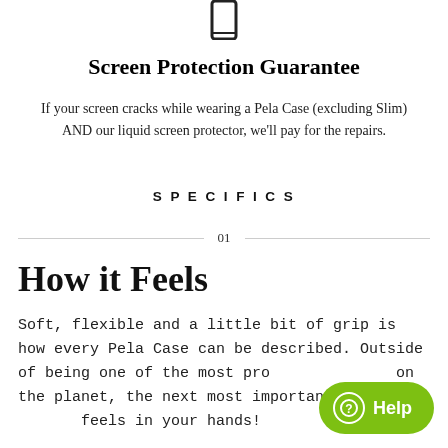[Figure (illustration): Small phone/tablet icon outline at top center of page]
Screen Protection Guarantee
If your screen cracks while wearing a Pela Case (excluding Slim) AND our liquid screen protector, we'll pay for the repairs.
SPECIFICS
01
How it Feels
Soft, flexible and a little bit of grip is how every Pela Case can be described. Outside of being one of the most pro on the planet, the next most important thing is feels in your hands!